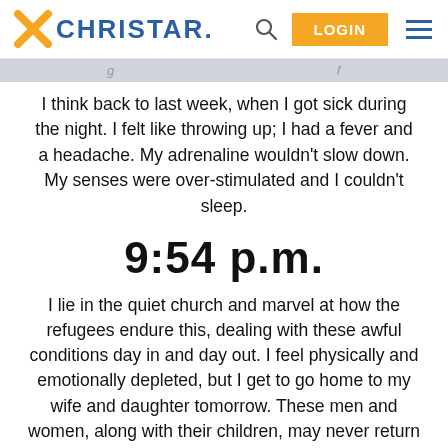[Figure (logo): Christar organization logo with orange X icon and blue CHRISTAR. text, plus navigation icons including search, orange LOGIN button, and hamburger menu]
I think back to last week, when I got sick during the night. I felt like throwing up; I had a fever and a headache. My adrenaline wouldn't slow down. My senses were over-stimulated and I couldn't sleep.
9:54 p.m.
I lie in the quiet church and marvel at how the refugees endure this, dealing with these awful conditions day in and day out. I feel physically and emotionally depleted, but I get to go home to my wife and daughter tomorrow. These men and women, along with their children, may never return to their families. Some have